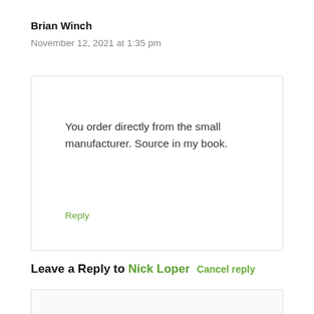Brian Winch
November 12, 2021 at 1:35 pm
You order directly from the small manufacturer. Source in my book.
Reply
Leave a Reply to Nick Loper Cancel reply